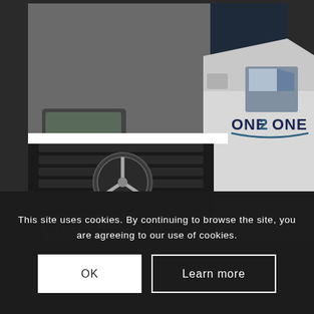[Figure (photo): Close-up photograph of a white Mercedes-Benz van/truck with 'ONE2ONE' logo branding visible on the side. The Mercedes star emblem is prominent on the front grille. A license plate reading 'S1211 OC' is partially visible at the bottom. The image is slightly desaturated and dark.]
This site uses cookies. By continuing to browse the site, you are agreeing to our use of cookies.
OK
Learn more